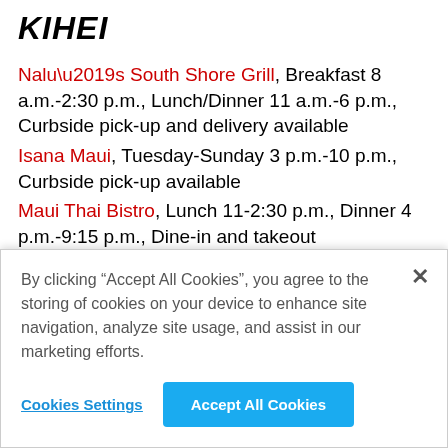Kihei
Nalu’s South Shore Grill, Breakfast 8 a.m.-2:30 p.m., Lunch/Dinner 11 a.m.-6 p.m., Curbside pick-up and delivery available
Isana Maui, Tuesday-Sunday 3 p.m.-10 p.m., Curbside pick-up available
Maui Thai Bistro, Lunch 11-2:30 p.m., Dinner 4 p.m.-9:15 p.m., Dine-in and takeout
Akamai Coffee, Daily 6 a.m.-6 p.m, Dine-in and takeout
By clicking “Accept All Cookies”, you agree to the storing of cookies on your device to enhance site navigation, analyze site usage, and assist in our marketing efforts.
Cookies Settings
Accept All Cookies